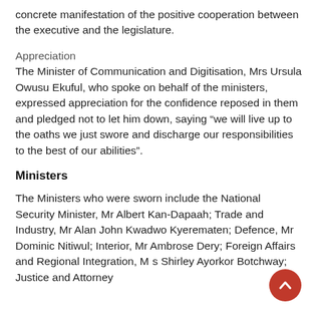concrete manifestation of the positive cooperation between the executive and the legislature.
Appreciation
The Minister of Communication and Digitisation, Mrs Ursula Owusu Ekuful, who spoke on behalf of the ministers, expressed appreciation for the confidence reposed in them and pledged not to let him down, saying “we will live up to the oaths we just swore and discharge our responsibilities to the best of our abilities”.
Ministers
The Ministers who were sworn include the National Security Minister, Mr Albert Kan-Dapaah; Trade and Industry, Mr Alan John Kwadwo Kyerematen; Defence, Mr Dominic Nitiwul; Interior, Mr Ambrose Dery; Foreign Affairs and Regional Integration, Mrs Shirley Ayorkor Botchway; Justice and Attorney